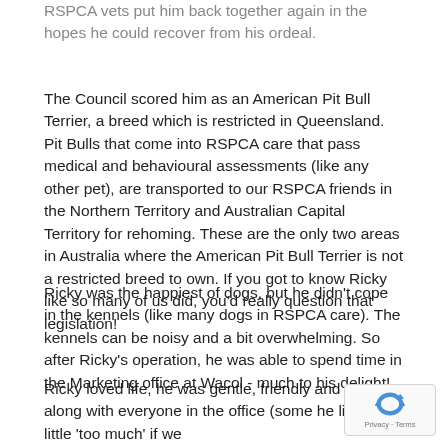RSPCA vets put him back together again in the hopes he could recover from his ordeal.
The Council scored him as an American Pit Bull Terrier, a breed which is restricted in Queensland. Pit Bulls that come into RSPCA care that pass medical and behavioural assessments (like any other pet), are transported to our RSPCA friends in the Northern Territory and Australian Capital Territory for rehoming. These are the only two areas in Australia where the American Pit Bull Terrier is not a restricted breed to own. If you got to know Ricky like so many of us did, you’d really question that legislation!
Ricky was the happiest of dogs, but he didn’t cope in the kennels (like many dogs in RSPCA care). The kennels can be noisy and a bit overwhelming. So after Ricky’s operation, he was able to spend time in the Marketing office at Wacol - much to his delight!
Ricky loved life, he was gentle, friendly and got along with everyone in the office (some he liked a little ‘too much’ if we’re honest). He was a very affectionate dog. He certainly broke the negative stigma associated with being a Pit Bull. Despite his injuries and the pain medication he was on, Ricky didn’t let that